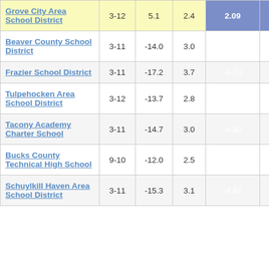| School/District | Grades | Col3 | Col4 | Score |  |
| --- | --- | --- | --- | --- | --- |
| Grove City Area School District | 3-12 | 5.1 | 2.4 | 2.09 |  |
| Beaver County School District | 3-11 | -14.0 | 3.0 | -4.64 |  |
| Frazier School District | 3-11 | -17.2 | 3.7 | -4.70 |  |
| Tulpehocken Area School District | 3-12 | -13.7 | 2.8 | -4.81 |  |
| Tacony Academy Charter School | 3-11 | -14.7 | 3.0 | -4.82 |  |
| Bucks County Technical High School | 9-10 | -12.0 | 2.5 | -4.84 |  |
| Schuylkill Haven Area School District | 3-11 | -15.3 | 3.1 | -4.87 |  |